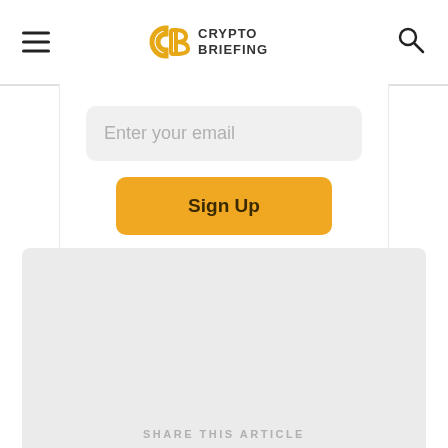Crypto Briefing
Enter your email
Sign Up
[Figure (other): Gray placeholder advertisement block]
SHARE THIS ARTICLE